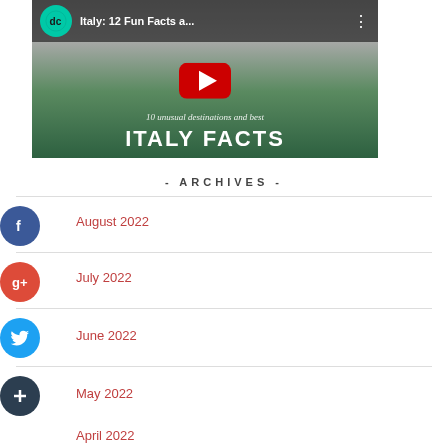[Figure (screenshot): YouTube video thumbnail for 'Italy: 12 Fun Facts a...' with play button, channel icon, and 'ITALY FACTS' text at bottom]
- ARCHIVES -
August 2022
July 2022
June 2022
May 2022
April 2022